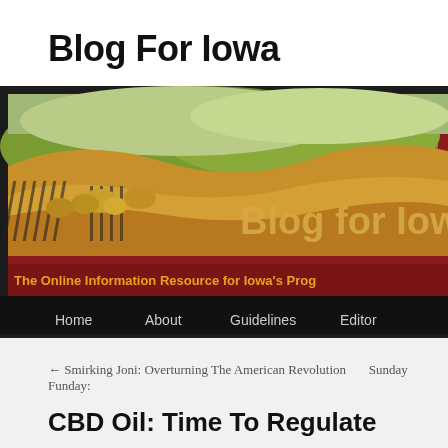Blog For Iowa
[Figure (screenshot): Blog For Iowa website banner showing Iowa farmland illustration with text 'Blog for Iowa' and subtitle 'The Online Information Resource for Iowa's Prog...' with navigation bar containing Home, About, Guidelines, Editor links]
← Smirking Joni: Overturning The American Revolution    Sunday Funday:
CBD Oil: Time To Regulate